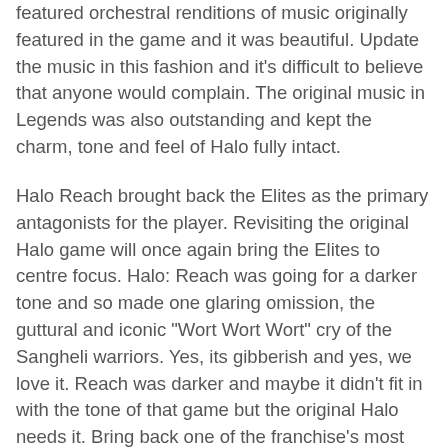featured orchestral renditions of music originally featured in the game and it was beautiful. Update the music in this fashion and it's difficult to believe that anyone would complain. The original music in Legends was also outstanding and kept the charm, tone and feel of Halo fully intact.
Halo Reach brought back the Elites as the primary antagonists for the player. Revisiting the original Halo game will once again bring the Elites to centre focus. Halo: Reach was going for a darker tone and so made one glaring omission, the guttural and iconic "Wort Wort Wort" cry of the Sangheli warriors. Yes, its gibberish and yes, we love it. Reach was darker and maybe it didn't fit in with the tone of that game but the original Halo needs it. Bring back one of the franchise's most loved catchphrases!